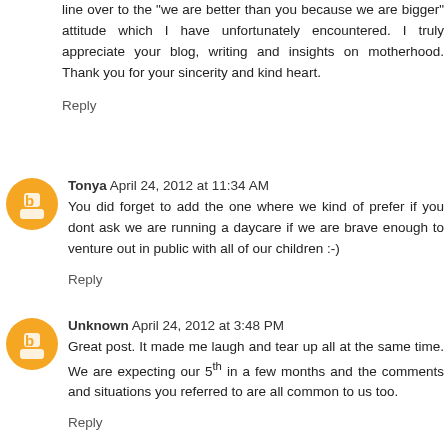line over to the "we are better than you because we are bigger" attitude which I have unfortunately encountered. I truly appreciate your blog, writing and insights on motherhood. Thank you for your sincerity and kind heart.
Reply
Tonya  April 24, 2012 at 11:34 AM
You did forget to add the one where we kind of prefer if you dont ask we are running a daycare if we are brave enough to venture out in public with all of our children :-)
Reply
Unknown  April 24, 2012 at 3:48 PM
Great post. It made me laugh and tear up all at the same time. We are expecting our 5th in a few months and the comments and situations you referred to are all common to us too.
Reply